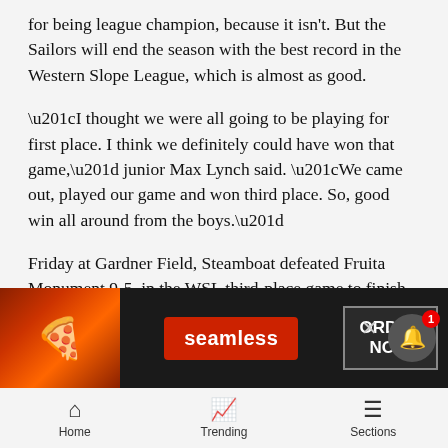for being league champion, because it isn't. But the Sailors will end the season with the best record in the Western Slope League, which is almost as good.
“I thought we were all going to be playing for first place. I think we definitely could have won that game,” junior Max Lynch said. “We came out, played our game and won third place. So, good win all around from the boys.”
Friday at Gardner Field, Steamboat defeated Fruita Monument 9-5, in the WSL third-place game to finish league play 8-1. Despite being the only team in the Western Slope with fewer than two league losses, the Sailors were relegated to the third-place game due to their d[...] loss to[...]
[Figure (screenshot): Advertisement overlay for Seamless food delivery with pizza image, Seamless red badge, ORDER NOW button, and notification bell with badge showing 1]
Home   Trending   Sections